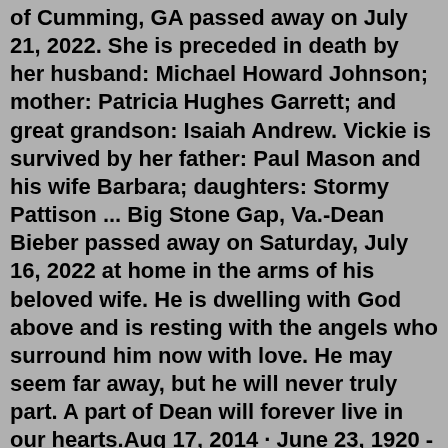of Cumming, GA passed away on July 21, 2022. She is preceded in death by her husband: Michael Howard Johnson; mother: Patricia Hughes Garrett; and great grandson: Isaiah Andrew. Vickie is survived by her father: Paul Mason and his wife Barbara; daughters: Stormy Pattison ... Big Stone Gap, Va.-Dean Bieber passed away on Saturday, July 16, 2022 at home in the arms of his beloved wife. He is dwelling with God above and is resting with the angels who surround him now with love. He may seem far away, but he will never truly part. A part of Dean will forever live in our hearts.Aug 17, 2014 · June 23, 1920 - August 17, 2014. Sayard Stone, conductor, music director and founder of the Connecticut Chamber Orchestra, died on August 17, 2014, at the age of 94. Sayard was an accomplished musician who performed until he reached the age of 90. Born on June 23, 1920 in New Hampshire to Frank and Isabel Stone, Sayard received his musical ... Rozene Collins, 83, of Rockford, IL gained her heavenly wings on Thursday, June 30, 2022, in the care of her son and daughter in